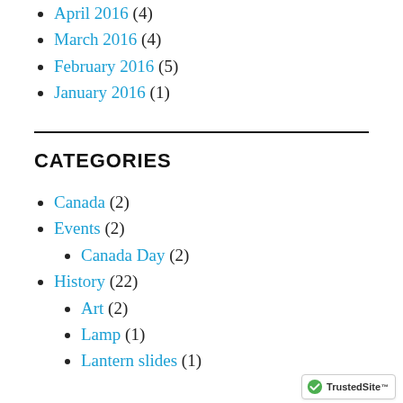April 2016 (4)
March 2016 (4)
February 2016 (5)
January 2016 (1)
CATEGORIES
Canada (2)
Events (2)
Canada Day (2)
History (22)
Art (2)
Lamp (1)
Lantern slides (1)